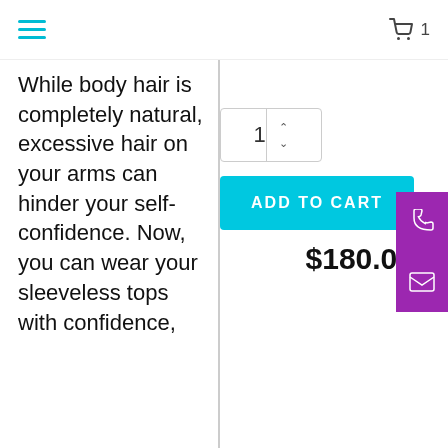☰  🛒 1
While body hair is completely natural, excessive hair on your arms can hinder your self-confidence. Now, you can wear your sleeveless tops with confidence,
1
ADD TO CART
$180.00